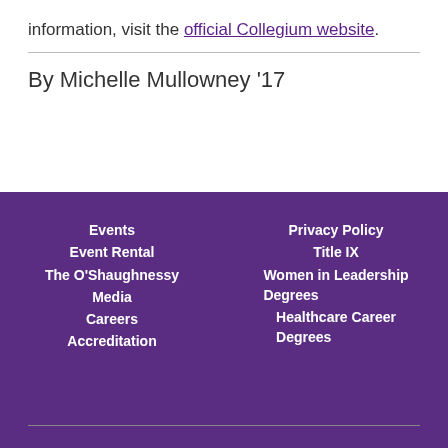information, visit the official Collegium website.
By Michelle Mullowney '17
Events
Event Rental
The O'Shaughnessy
Media
Careers
Accreditation
Privacy Policy
Title IX
Women in Leadership Degrees
Healthcare Career Degrees